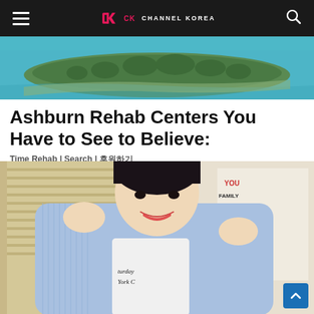Channel Korea – navigation bar with hamburger menu, Channel Korea logo, and search icon
[Figure (photo): Aerial view of a small tree-covered island surrounded by teal-blue water]
Ashburn Rehab Centers You Have to See to Believe:
Time Rehab | Search | 후원하기
[Figure (photo): Young Korean male celebrity (K-pop idol) smiling and waving both hands, wearing a light blue striped oversized shirt over a white Saturday New York City t-shirt, indoors near blinds and a motivational poster reading FAMILY, YOU, ALWAYS BEAUTIFUL, LOVE YOU, BE HAPPY]